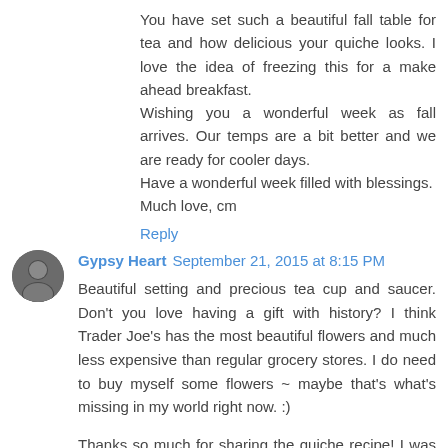You have set such a beautiful fall table for tea and how delicious your quiche looks. I love the idea of freezing this for a make ahead breakfast.
Wishing you a wonderful week as fall arrives. Our temps are a bit better and we are ready for cooler days.
Have a wonderful week filled with blessings.
Much love, cm
Reply
Gypsy Heart  September 21, 2015 at 8:15 PM
Beautiful setting and precious tea cup and saucer. Don't you love having a gift with history? I think Trader Joe's has the most beautiful flowers and much less expensive than regular grocery stores. I do need to buy myself some flowers ~ maybe that's what's missing in my world right now. :)
Thanks so much for sharing the quiche recipe! I was thinking about the fact of whether it could be frozen or not and then you provided excellent directions ~ thank you! I do